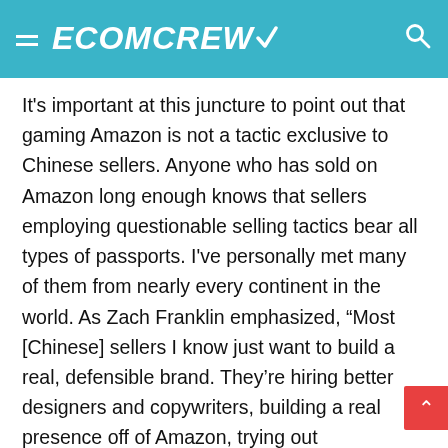ECOMCREW
It's important at this juncture to point out that gaming Amazon is not a tactic exclusive to Chinese sellers. Anyone who has sold on Amazon long enough knows that sellers employing questionable selling tactics bear all types of passports. I've personally met many of them from nearly every continent in the world. As Zach Franklin emphasized, “Most [Chinese] sellers I know just want to build a real, defensible brand. They’re hiring better designers and copywriters, building a real presence off of Amazon, trying out